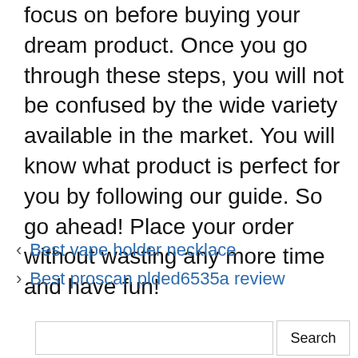focus on before buying your dream product. Once you go through these steps, you will not be confused by the wide variety available in the market. You will know what product is perfect for you by following our guide. So go ahead! Place your order without wasting any more time and have fun!
< Best vape holder necklace
> Best proscan plded6535a review